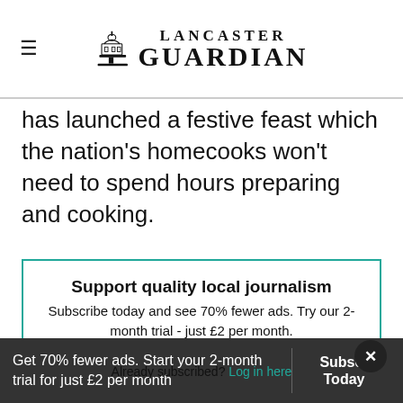Lancaster Guardian
has launched a festive feast which the nation’s homecooks won’t need to spend hours preparing and cooking.
Support quality local journalism
Subscribe today and see 70% fewer ads. Try our 2-month trial - just £2 per month.
Subscribe today
Already subscribed? Log in here
Get 70% fewer ads. Start your 2-month trial for just £2 per month  Subscribe Today